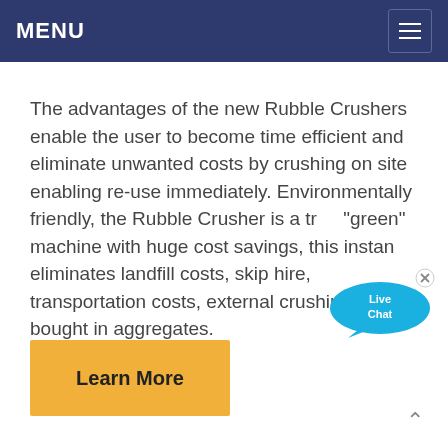MENU
The advantages of the new Rubble Crushers enable the user to become time efficient and eliminate unwanted costs by crushing on site enabling re-use immediately. Environmentally friendly, the Rubble Crusher is a true "green" machine with huge cost savings, this instantly eliminates landfill costs, skip hire, transportation costs, external crushing and bought in aggregates.
[Figure (other): Live Chat bubble widget overlay in top-right area of text]
Learn More